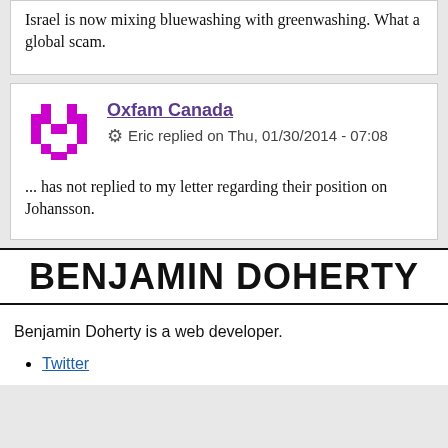Israel is now mixing bluewashing with greenwashing. What a global scam.
Oxfam Canada
Eric replied on Thu, 01/30/2014 - 07:08
... has not replied to my letter regarding their position on Johansson.
BENJAMIN DOHERTY
Benjamin Doherty is a web developer.
Twitter